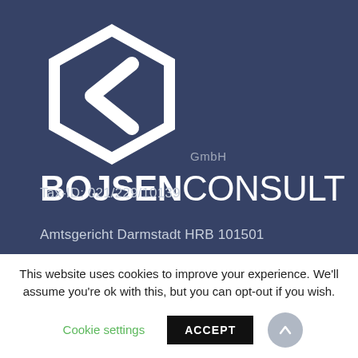[Figure (logo): Bojsen Consult GmbH logo — white hexagon with chevron shape on dark navy background, with company name below]
Tax-ID: 021/229/10139
Amtsgericht Darmstadt HRB 101501
This website uses cookies to improve your experience. We'll assume you're ok with this, but you can opt-out if you wish.
Cookie settings
ACCEPT